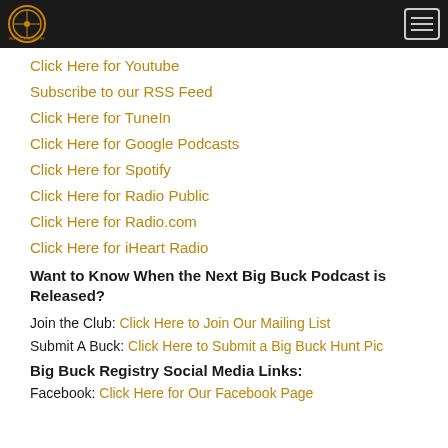Big Buck Registry logo and navigation menu
Click Here for Youtube
Subscribe to our RSS Feed
Click Here for TuneIn
Click Here for Google Podcasts
Click Here for Spotify
Click Here for Radio Public
Click Here for Radio.com
Click Here for iHeart Radio
Want to Know When the Next Big Buck Podcast is Released?
Join the Club: Click Here to Join Our Mailing List
Submit A Buck: Click Here to Submit a Big Buck Hunt Pic
Big Buck Registry Social Media Links:
Facebook: Click Here for Our Facebook Page